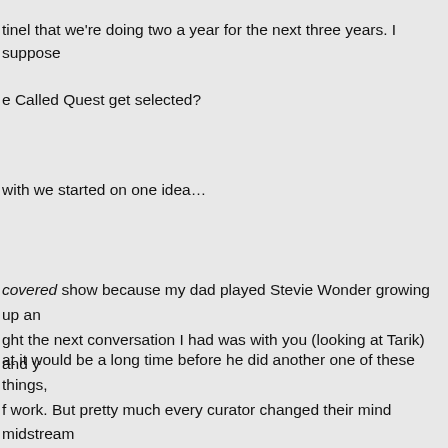tinel that we're doing two a year for the next three years. I suppose
e Called Quest get selected?
with we started on one idea…
covered show because my dad played Stevie Wonder growing up an ght the next conversation I had was with you (looking at Tarik) and y
at it would be a long time before he did another one of these things, f work. But pretty much every curator changed their mind midstream or has to do it so intense. I mean, they're living with this for like a ye . So Kellen was going to do a Michael Jackson show.